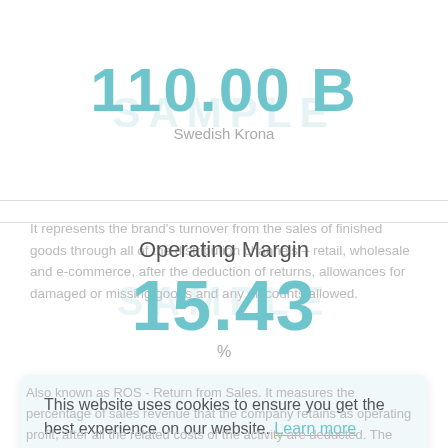110.00 B
Swedish Krona
It represents the brand's turnover from the sales of finished goods through all of the distribution channels – retail, wholesale and e-commerce, after the deduction of returns, allowances for damaged or missing goods and any discounts allowed.
Operating Margin
15.43
%
This website uses cookies to ensure you get the best experience on our website. Learn more
Got it!
Also known as ROS - Return from Sales. It measures the percentage of sales revenue that the company retains as operating profit, after all the related costs of the activity are deducted. The figure is about the latest fiscal year available.